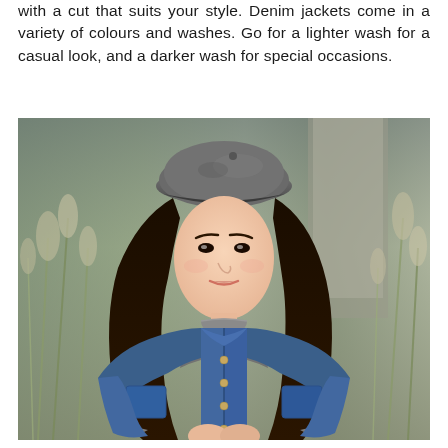with a cut that suits your style. Denim jackets come in a variety of colours and washes. Go for a lighter wash for a casual look, and a darker wash for special occasions.
[Figure (photo): A young Asian woman wearing a grey beret hat, a grey turtleneck sweater, and a blue denim jacket. She has long dark wavy hair and is posed outdoors with blurred grassy plants and a concrete structure in the background.]